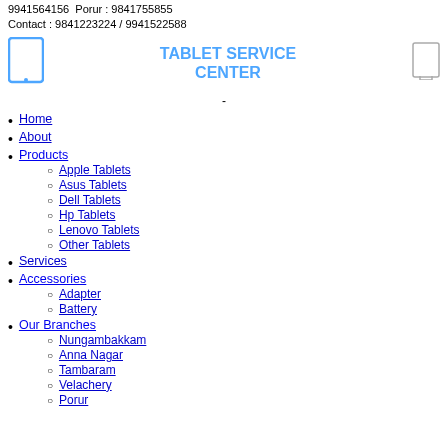9941564156  Porur : 9841755855
Contact : 9841223224 / 9941522588
TABLET SERVICE CENTER
-
Home
About
Products
Apple Tablets
Asus Tablets
Dell Tablets
Hp Tablets
Lenovo Tablets
Other Tablets
Services
Accessories
Adapter
Battery
Our Branches
Nungambakkam
Anna Nagar
Tambaram
Velachery
Porur